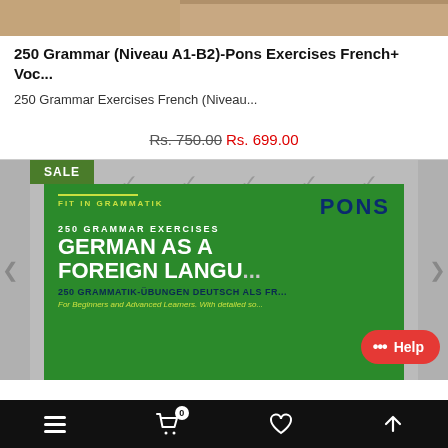[Figure (photo): Top portion of a book cover image, partially cropped]
250 Grammar (Niveau A1-B2)-Pons Exercises French+ Voc...
250 Grammar Exercises French (Niveau...
Rs. 750.00 Rs. 699.00
[Figure (photo): Book cover for PONS 250 Grammar Exercises German as a Foreign Language. Green background with PONS logo, FIT IN GRAMMATIK label, white main title text, and taglines in yellow and blue. SALE badge in top-left corner.]